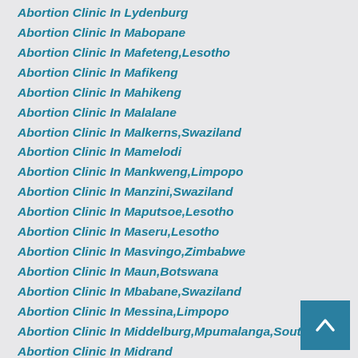Abortion Clinic In Lydenburg
Abortion Clinic In Mabopane
Abortion Clinic In Mafeteng,Lesotho
Abortion Clinic In Mafikeng
Abortion Clinic In Mahikeng
Abortion Clinic In Malalane
Abortion Clinic In Malkerns,Swaziland
Abortion Clinic In Mamelodi
Abortion Clinic In Mankweng,Limpopo
Abortion Clinic In Manzini,Swaziland
Abortion Clinic In Maputsoe,Lesotho
Abortion Clinic In Maseru,Lesotho
Abortion Clinic In Masvingo,Zimbabwe
Abortion Clinic In Maun,Botswana
Abortion Clinic In Mbabane,Swaziland
Abortion Clinic In Messina,Limpopo
Abortion Clinic In Middelburg,Mpumalanga,South Africa
Abortion Clinic In Midrand
Abortion Clinic In Mkuze,Kwazulu,Natal